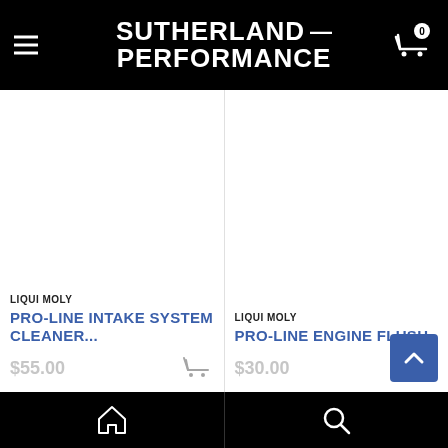SUTHERLAND PERFORMANCE
LIQUI MOLY
PRO-LINE INTAKE SYSTEM CLEANER...
LIQUI MOLY
PRO-LINE ENGINE FLUSH
Home | Search